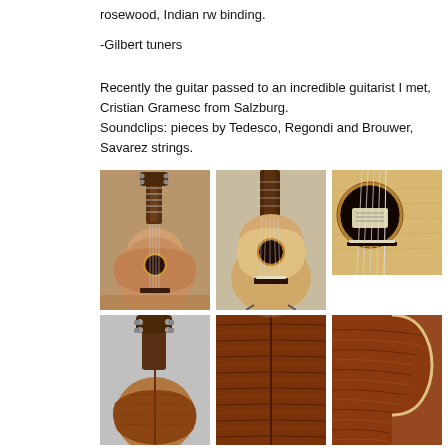rosewood, Indian rw binding.
-Gilbert tuners
Recently the guitar passed to an incredible guitarist I met, Cristian Gramesc from Salzburg.
Soundclips: pieces by Tedesco, Regondi and Brouwer, Savarez strings.
[Figure (photo): Classical guitar, front view from slight angle showing neck and body]
[Figure (photo): Classical guitar, front view showing full body and soundhole]
[Figure (photo): Close-up of guitar soundhole and strings]
[Figure (photo): Back of guitar neck and headstock]
[Figure (photo): Back of guitar body showing rosewood grain pattern]
[Figure (photo): Side of guitar showing rosewood grain and binding]